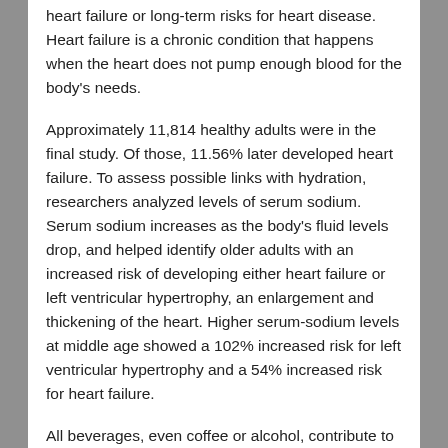heart failure or long-term risks for heart disease. Heart failure is a chronic condition that happens when the heart does not pump enough blood for the body's needs.
Approximately 11,814 healthy adults were in the final study. Of those, 11.56% later developed heart failure. To assess possible links with hydration, researchers analyzed levels of serum sodium. Serum sodium increases as the body's fluid levels drop, and helped identify older adults with an increased risk of developing either heart failure or left ventricular hypertrophy, an enlargement and thickening of the heart. Higher serum-sodium levels at middle age showed a 102% increased risk for left ventricular hypertrophy and a 54% increased risk for heart failure.
All beverages, even coffee or alcohol, contribute to hydration. A Harvard Medical School Special Health Report notes that it is a myth that caffeinated drinks or alcohol are dehydrating because they make you urinate. They do, but over the course of a day, the water from these beverages still lead to a net positive contribution to